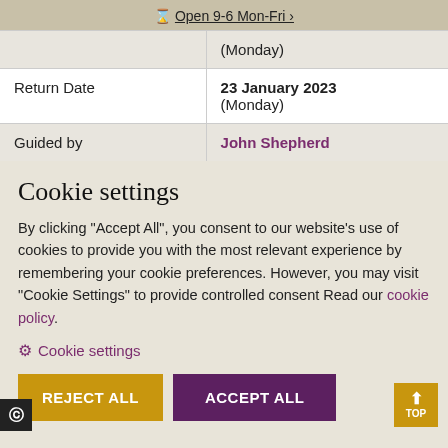Open 9-6 Mon-Fri >
|  | (Monday) |
| Return Date | 23 January 2023
(Monday) |
| Guided by | John Shepherd |
Cookie settings
By clicking "Accept All", you consent to our website's use of cookies to provide you with the most relevant experience by remembering your cookie preferences. However, you may visit "Cookie Settings" to provide controlled consent Read our cookie policy.
⚙ Cookie settings
REJECT ALL   ACCEPT ALL